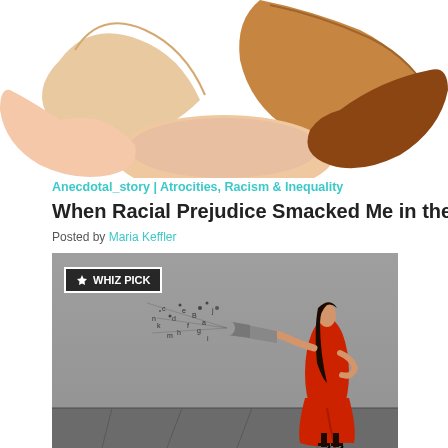[Figure (illustration): Illustration of hands of different skin tones forming a circle on white background]
Anecdotal_story | Atrocities, Racism & Inequality
When Racial Prejudice Smacked Me in the H...
Posted by Maria Keffler
[Figure (photo): Woman in red dress shouting into megaphone with letters/characters flying out, grey background. WHIZ PICK badge overlay.]